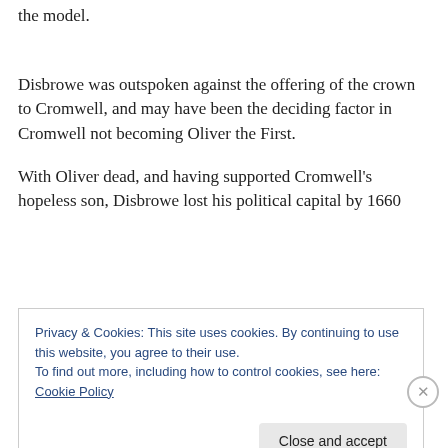the model.
Disbrowe was outspoken against the offering of the crown to Cromwell, and may have been the deciding factor in Cromwell not becoming Oliver the First.
With Oliver dead, and having supported Cromwell's hopeless son, Disbrowe lost his political capital by 1660
Privacy & Cookies: This site uses cookies. By continuing to use this website, you agree to their use.
To find out more, including how to control cookies, see here: Cookie Policy